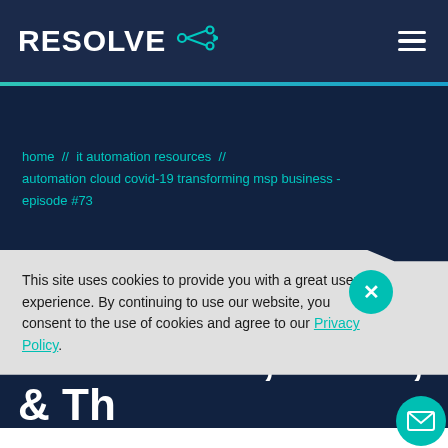RESOLVE
home  //  it automation resources  //  automation cloud covid-19 transforming msp business - episode #73
This site uses cookies to provide you with a great user experience. By continuing to use our website, you consent to the use of cookies and agree to our Privacy Policy.
Episode #73: How
Automation, Cloud, & Th